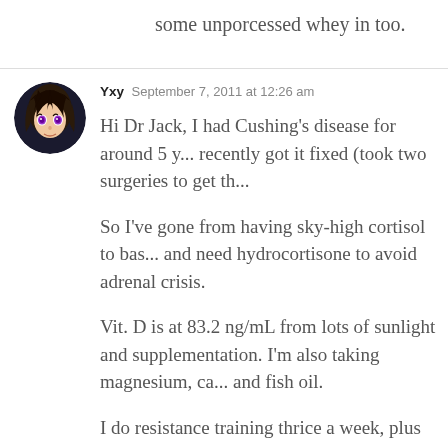some unporcessed whey in too.
Yxy  September 7, 2011 at 12:26 am
Hi Dr Jack, I had Cushing's disease for around 5 y... recently got it fixed (took two surgeries to get th...
So I've gone from having sky-high cortisol to bas... and need hydrocortisone to avoid adrenal crisis.
Vit. D is at 83.2 ng/mL from lots of sunlight and supplementation. I'm also taking magnesium, ca... and fish oil.
I do resistance training thrice a week, plus some IMA and yoga.
Is there anything you would recommend me to t... with respect to your leptin protocol?